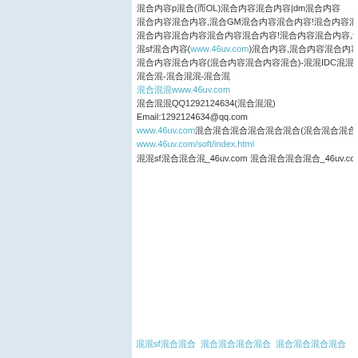混合内容p混合(而OL)混合内容混合内容|dm混合内容
混合内容混合内容,混合GM混合内容混合内容!混合内容混合内容混合内容!
混合内容混合内容混合内容混合内容!混合内容混合内容,混合内容混合内容!
混sf混合内容(www.46uv.com)混合内容,混合内容混合内容!!!
混合内容混合内容(混合内容混合内容混合)-混混IDC混混-混合内容
混合混-混合混混-混合混
混合混混www.46uv.com
混合混混QQ1292124634(混合混混)
Email:1292124634@qq.com
www.46uv.com混合混合混合混合混合混合(混合混合混合混合混合):
www.46uv.com/soft/index.html
混混sf混合混合混_46uv.com 混合混合混合混合_46uv.com 混混
混混sf混合混合 混合混合混合混合 混合混合混合混合